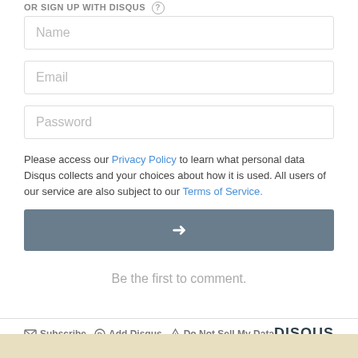OR SIGN UP WITH DISQUS ?
Name
Email
Password
Please access our Privacy Policy to learn what personal data Disqus collects and your choices about how it is used. All users of our service are also subject to our Terms of Service.
[Figure (other): Submit button with right arrow icon, dark gray background]
Be the first to comment.
Subscribe  Add Disqus  Do Not Sell My Data  DISQUS